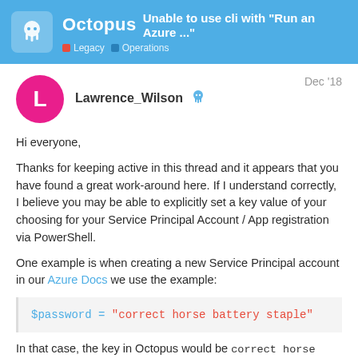Octopus — Unable to use cli with "Run an Azure ..." | Legacy | Operations
Lawrence_Wilson — Dec '18
Hi everyone,
Thanks for keeping active in this thread and it appears that you have found a great work-around here. If I understand correctly, I believe you may be able to explicitly set a key value of your choosing for your Service Principal Account / App registration via PowerShell.

One example is when creating a new Service Principal account in our Azure Docs we use the example:
In that case, the key in Octopus would be correct horse battery staple. I hope this helps prev needing to cycle through many keys befor